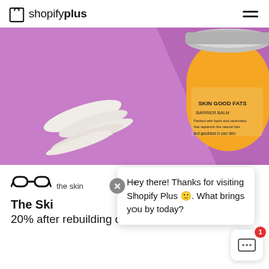shopify plus
[Figure (photo): Product photo: yellow jar of 'Skin Good Fats' barrier balm with metallic purple lid on a purple background, with a white cream swatch beside it]
[Figure (logo): The Skincare brand logo with glasses icon]
the skin
Hey there! Thanks for visiting Shopify Plus 🙂. What brings you by today?
The Ski
20% after rebuilding one store, and